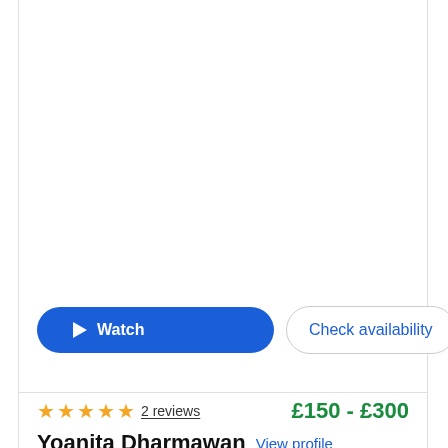[Figure (other): Large blank white image area at top of performer card]
Watch
Check availability
2 reviews
£150 - £300
Yoanita Dharmawan
View profile
Pianist